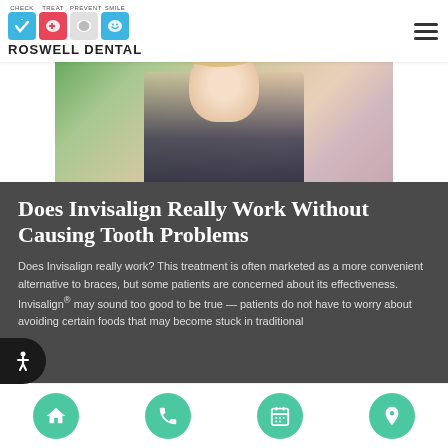Roswell Dental — logo with CHECK TREAT PREVENT SMILE icons and hamburger menu
[Figure (photo): Photo of a smiling blonde woman outdoors, partially visible from shoulders up]
Does Invisalign Really Work Without Causing Tooth Problems
Does Invisalign really work? This treatment is often marketed as a more convenient alternative to braces, but some patients are concerned about its effectiveness. Invisalign® may sound too good to be true — patients do not have to worry about avoiding certain foods that may become stuck in traditional
Navigation bar with home, phone, calendar, and location icons